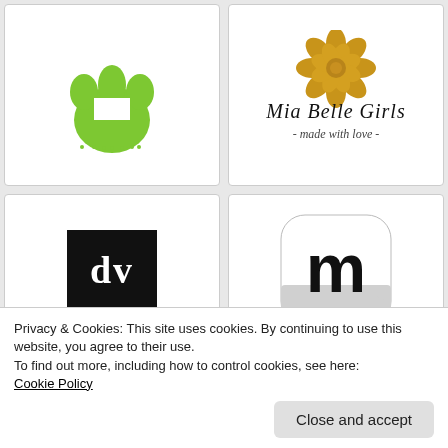[Figure (logo): King Kanine logo — green paw print with crown shape above text 'KING KANINE™' and 'PET WELLNESS INSIDE AND OUT']
[Figure (logo): Mia Belle Girls logo — gold rose above cursive text 'Mia Belle Girls - made with love -']
[Figure (logo): dv logo — black square with white lowercase letters 'dv']
[Figure (logo): m logo — rounded square app icon with black 'm' letter on white/grey background]
Privacy & Cookies: This site uses cookies. By continuing to use this website, you agree to their use.
To find out more, including how to control cookies, see here:
Cookie Policy
Close and accept